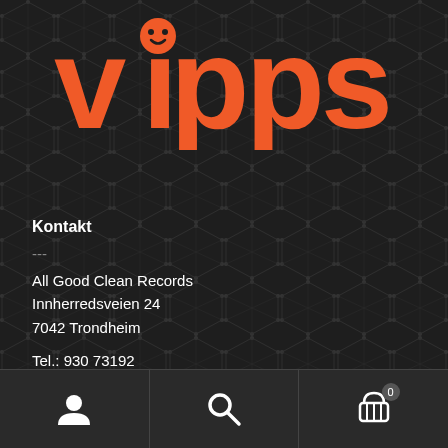[Figure (logo): Vipps logo in orange on dark geometric patterned background]
Kontakt
---
All Good Clean Records
Innherredsveien 24
7042 Trondheim
Tel.: 930 73192
Send e-post
Åpningstider
---
Man - Fre: 10.00 - 17.30
Lørdag: 11.00 - 16.00
[Figure (screenshot): Bottom navigation bar with user icon, search icon, and cart icon with badge showing 0]